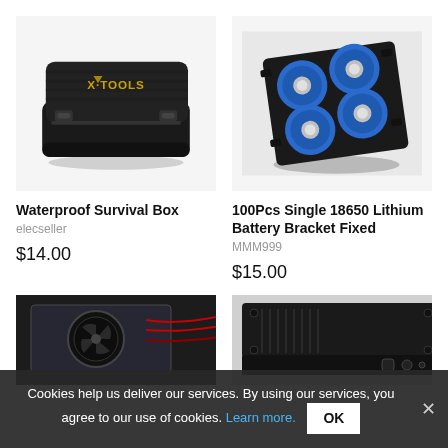[Figure (photo): Black waterproof hard case with X-TOOLS logo in gold text on lid, viewed at angle]
Waterproof Survival Box
elecseller
$14.00
[Figure (photo): 100 blue 18650 lithium battery cells arranged in black plastic bracket holders, viewed from above at angle]
100Pcs Single 18650 Lithium Battery Bracket Fixed
MMM999
$15.00
[Figure (photo): Electronics component with fan and red wiring in acrylic/clear housing on dark background]
[Figure (photo): Black rectangular electronic enclosure/case viewed at slight angle]
Cookies help us deliver our services. By using our services, you agree to our use of cookies. Learn more. OK